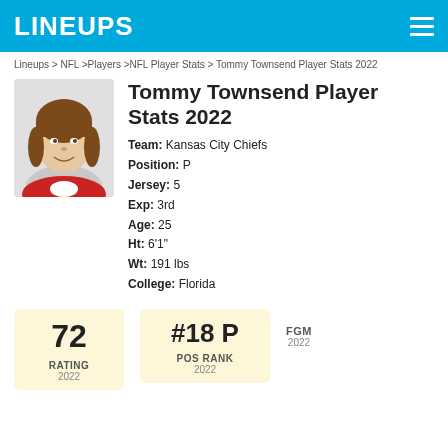LINEUPS
Lineups > NFL > Players > NFL Player Stats > Tommy Townsend Player Stats 2022
Tommy Townsend Player Stats 2022
Team: Kansas City Chiefs
Position: P
Jersey: 5
Exp: 3rd
Age: 25
Ht: 6'1"
Wt: 191 lbs
College: Florida
[Figure (photo): Headshot photo of Tommy Townsend]
72
RATING
2022
#18 P
POS RANK
2022
FGM
2022